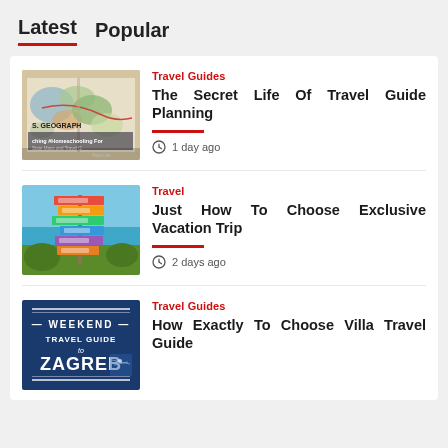Latest  Popular
[Figure (photo): Geography travel guide book with maps, open pages showing state maps]
Travel Guides
The Secret Life Of Travel Guide Planning
1 day ago
[Figure (photo): Colorful direction signs on a pole against a tropical beach and sky]
Travel
Just How To Choose Exclusive Vacation Trip
2 days ago
[Figure (photo): Weekend Travel Guide to Zagreb book cover in blue]
Travel Guides
How Exactly To Choose Villa Travel Guide